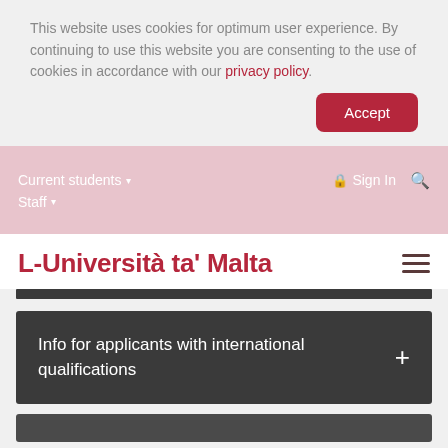This website uses cookies for optimum user experience. By continuing to use this website you are consenting to the use of cookies in accordance with our privacy policy.
Accept
Current students ▾   Sign In 🔒   🔍
Staff ▾
L-Università ta' Malta
Info for applicants with international qualifications